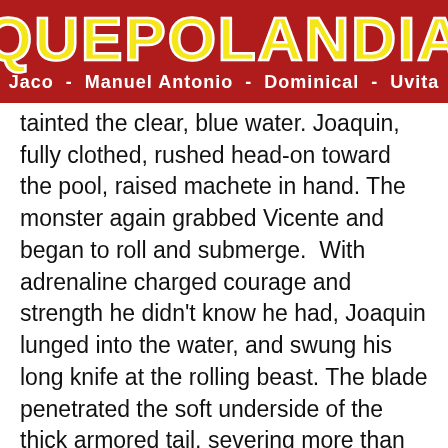[Figure (logo): Quepolandia logo banner: red background with large yellow bold text 'QUEPOLANDIA' and white subtitle 'Jaco - Manuel Antonio - Dominical - Uvita']
tainted the clear, blue water. Joaquin, fully clothed, rushed head-on toward the pool, raised machete in hand. The monster again grabbed Vicente and began to roll and submerge.  With adrenaline charged courage and strength he didn't know he had, Joaquin lunged into the water, and swung his long knife at the rolling beast. The blade penetrated the soft underside of the thick armored tail, severing more than half a meter (19½ inches.) Vicente, traumatized and exhausted, surfaced once again. Joaquin stepped chest deep into the water...